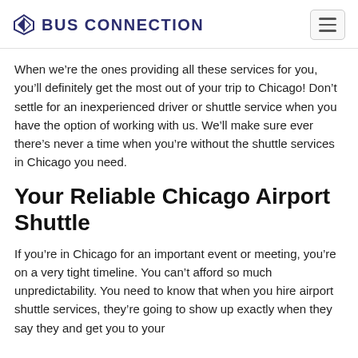BUS CONNECTION
When we're the ones providing all these services for you, you'll definitely get the most out of your trip to Chicago! Don't settle for an inexperienced driver or shuttle service when you have the option of working with us. We'll make sure ever there's never a time when you're without the shuttle services in Chicago you need.
Your Reliable Chicago Airport Shuttle
If you're in Chicago for an important event or meeting, you're on a very tight timeline. You can't afford so much unpredictability. You need to know that when you hire airport shuttle services, they're going to show up exactly when they say they and get you to your